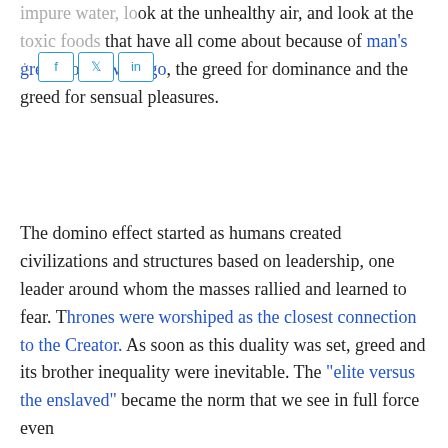impure water, look at the unhealthy air, and look at the toxic foods that have all come about because of man's greed for power-ego, the greed for dominance and the greed for sensual pleasures.
The domino effect started as humans created civilizations and structures based on leadership, one leader around whom the masses rallied and learned to fear. Thrones were worshiped as the closest connection to the Creator. As soon as this duality was set, greed and its brother inequality were inevitable. The "elite versus the enslaved" became the norm that we see in full force even